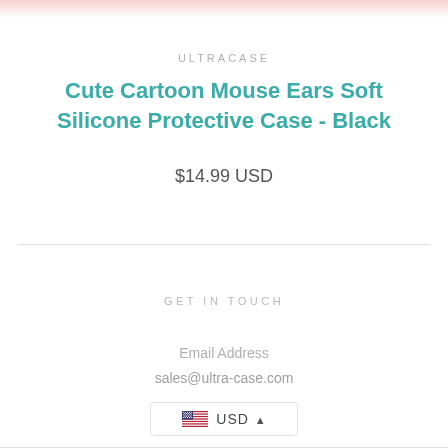ULTRACASE
Cute Cartoon Mouse Ears Soft Silicone Protective Case - Black
$14.99 USD
GET IN TOUCH
Email Address
sales@ultra-case.com
USD